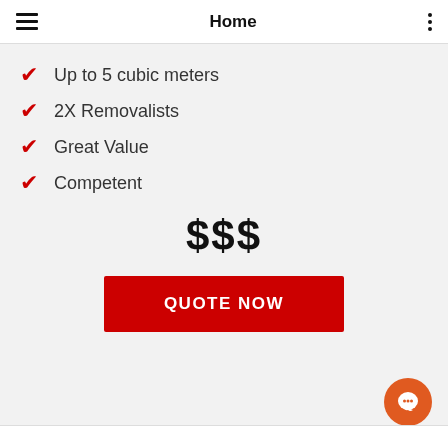Home
Up to 5 cubic meters
2X Removalists
Great Value
Competent
$$$
QUOTE NOW